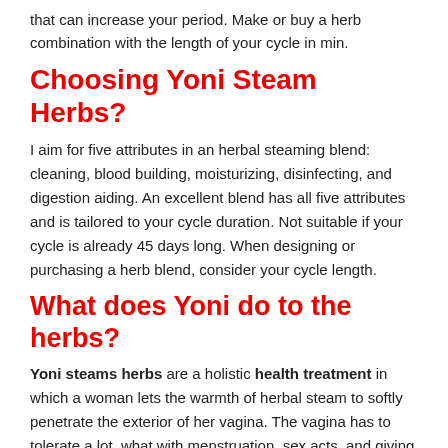that can increase your period. Make or buy a herb combination with the length of your cycle in min.
Choosing Yoni Steam Herbs?
I aim for five attributes in an herbal steaming blend: cleaning, blood building, moisturizing, disinfecting, and digestion aiding. An excellent blend has all five attributes and is tailored to your cycle duration. Not suitable if your cycle is already 45 days long. When designing or purchasing a herb blend, consider your cycle length.
What does Yoni do to the herbs?
Yoni steams herbs are a holistic health treatment in which a woman lets the warmth of herbal steam to softly penetrate the exterior of her vagina. The vagina has to tolerate a lot, what with menstruation, sex acts, and giving birth. When hormones and pelvic floor disorders are thrown into the equation, the vaginal area can be uncomfortable.
It's a simple method: